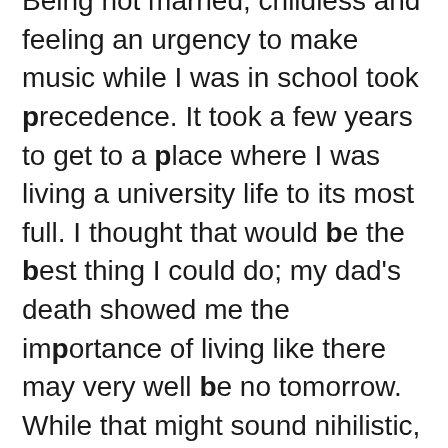Being not married, childless and feeling an urgency to make music while I was in school took precedence. It took a few years to get to a place where I was living a university life to its most full. I thought that would be the best thing I could do; my dad's death showed me the importance of living like there may very well be no tomorrow. While that might sound nihilistic, it was exactly the opposite. I was trying to honor him by making his sacrifices for me worth something more. I've had the luxury to look hard at myself and find things I love to do. I've been extraordinarily fortunate